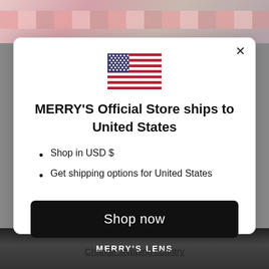[Figure (screenshot): Background top: clothing/fashion photo with pink plaid fabric and dark jacket]
[Figure (screenshot): US flag emoji/icon centered in modal]
MERRY'S Official Store ships to United States
Shop in USD $
Get shipping options for United States
Shop now
Change shipping country
[Figure (screenshot): Background bottom: dark lens/camera image with text MERRY'S LENS]